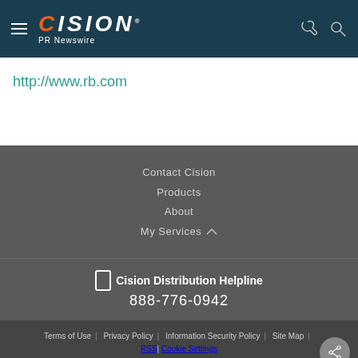Cision PR Newswire
http://www.rb.com
Contact Cision
Products
About
My Services
Cision Distribution Helpline 888-776-0942
Terms of Use | Privacy Policy | Information Security Policy | Site Map | RSS | Cookie Settings Copyright © 2022 Cision US Inc.